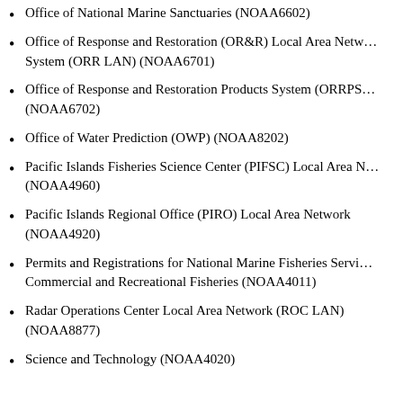Office of National Marine Sanctuaries (NOAA6602)
Office of Response and Restoration (OR&R) Local Area Network System (ORR LAN) (NOAA6701)
Office of Response and Restoration Products System (ORRPS) (NOAA6702)
Office of Water Prediction (OWP) (NOAA8202)
Pacific Islands Fisheries Science Center (PIFSC) Local Area Network (NOAA4960)
Pacific Islands Regional Office (PIRO) Local Area Network (NOAA4920)
Permits and Registrations for National Marine Fisheries Service Commercial and Recreational Fisheries (NOAA4011)
Radar Operations Center Local Area Network (ROC LAN) (NOAA8877)
Science and Technology (NOAA4020)